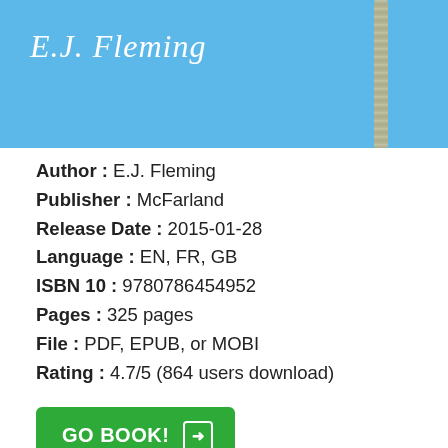[Figure (photo): Book cover image with light blue background showing author name 'E.J. Fleming' in white italic text and a decorative vertical element on the right side]
Author : E.J. Fleming
Publisher : McFarland
Release Date : 2015-01-28
Language : EN, FR, GB
ISBN 10 : 9780786454952
Pages : 325 pages
File : PDF, EPUB, or MOBI
Rating : 4.7/5 (864 users download)
GO BOOK!
Summary Book Review The Fixers :
Download or read book The Fixers written by E.J. Fleming and published by McFarland. This book was